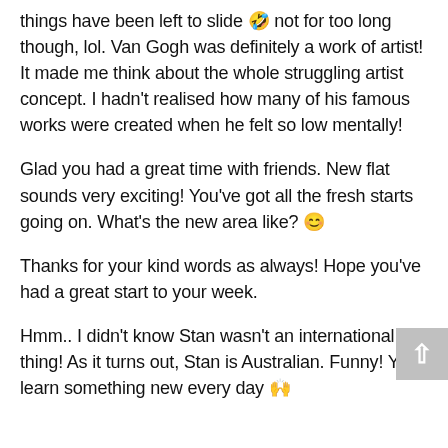things have been left to slide 🤣 not for too long though, lol. Van Gogh was definitely a work of artist! It made me think about the whole struggling artist concept. I hadn't realised how many of his famous works were created when he felt so low mentally!
Glad you had a great time with friends. New flat sounds very exciting! You've got all the fresh starts going on. What's the new area like? 😊
Thanks for your kind words as always! Hope you've had a great start to your week.
Hmm.. I didn't know Stan wasn't an international thing! As it turns out, Stan is Australian. Funny! You learn something new every day 🙌